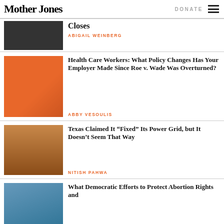Mother Jones | DONATE
Closes
ABIGAIL WEINBERG
Health Care Workers: What Policy Changes Has Your Employer Made Since Roe v. Wade Was Overturned?
ABBY VESOULIS
Texas Claimed It “Fixed” Its Power Grid, but It Doesn’t Seem That Way
NITISH PAHWA
What Democratic Efforts to Protect Abortion Rights and